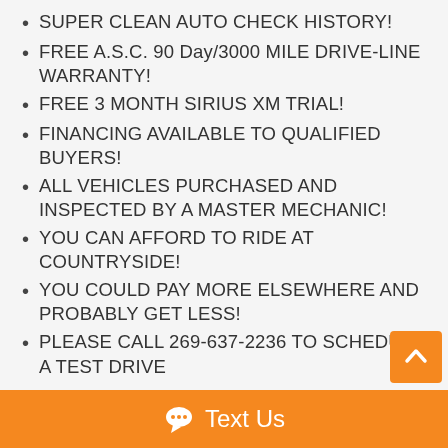SUPER CLEAN AUTO CHECK HISTORY!
FREE A.S.C. 90 Day/3000 MILE DRIVE-LINE WARRANTY!
FREE 3 MONTH SIRIUS XM TRIAL!
FINANCING AVAILABLE TO QUALIFIED BUYERS!
ALL VEHICLES PURCHASED AND INSPECTED BY A MASTER MECHANIC!
YOU CAN AFFORD TO RIDE AT COUNTRYSIDE!
YOU COULD PAY MORE ELSEWHERE AND PROBABLY GET LESS!
PLEASE CALL 269-637-2236 TO SCHEDULE A TEST DRIVE
HOURS: MONDAY - FRIDAY 8 AM - 6 PM SATURDAY 9 AM - 3 PM
Closed Sundays and Holidays
Text Us